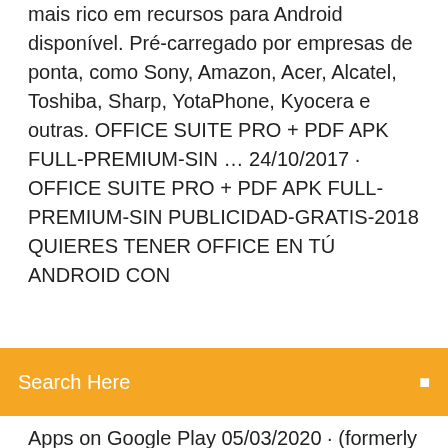mais rico em recursos para Android disponível. Pré-carregado por empresas de ponta, como Sony, Amazon, Acer, Alcatel, Toshiba, Sharp, YotaPhone, Kyocera e outras. OFFICE SUITE PRO + PDF APK FULL-PREMIUM-SIN … 24/10/2017 · OFFICE SUITE PRO + PDF APK FULL-PREMIUM-SIN PUBLICIDAD-GRATIS-2018 QUIERES TENER OFFICE EN TÚ ANDROID CON
[Figure (screenshot): Orange search bar with 'Search Here' placeholder text and a search icon on the right]
Apps on Google Play 05/03/2020 · (formerly Mobile Document Viewer) Small and fast document viewing application for Open Document Format (OpenOffice, LibreOffice), OOXML (Microsoft Office) and other productivity document formats. It allows opening office productivity application documents, like text files, spreadsheets or presentations, located in the filesystem, e.g. on sd card, as well downloaded documents, files on … OfficeSuite Pro 7 10.16.27275 para Android - … OfficeSuite Pro 7 es una completa herramienta de Office para terminales Android que nos permitirá ver, editar, imprimir (si tenemos sincronizado